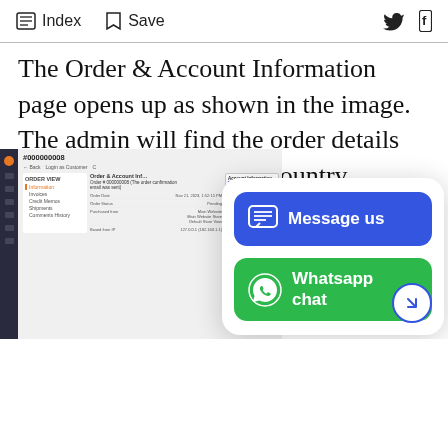Index  Save
The Order & Account Information page opens up as shown in the image. The admin will find the order details along with Webkul Per Country Shipping under Shipping and Handling Information
[Figure (screenshot): Magento admin panel screenshot showing Order & Account Information page for order #000000008, with sidebar navigation showing Order View, Information, Invoices, Credit Memos, Shipments, Comments History. Main area shows order details with order date Nov 21, 2023, Order Status: Pending, Purchased from: Main Website, and Account Information panel.]
[Figure (infographic): Overlay panel with two buttons: blue 'Message us' button with chat icon, and green 'Whatsapp chat' button with WhatsApp logo. Arrow circle button at bottom right.]